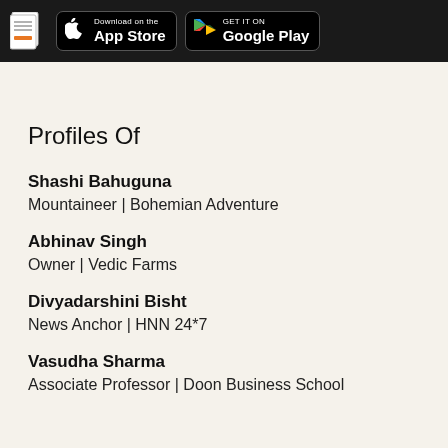App Store | Google Play
Profiles Of
Shashi Bahuguna
Mountaineer | Bohemian Adventure
Abhinav Singh
Owner | Vedic Farms
Divyadarshini Bisht
News Anchor | HNN 24*7
Vasudha Sharma
Associate Professor | Doon Business School